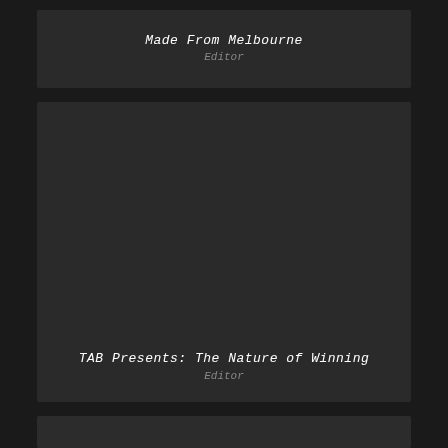Made From Melbourne
Editor
[Figure (photo): Dark rectangular card area with an image placeholder, containing title text 'TAB Presents: The Nature of Winning' and 'Editor' subtitle at the bottom]
TAB Presents: The Nature of Winning
Editor